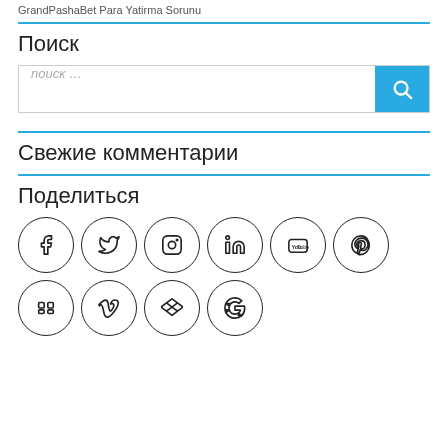GrandPashaBet Para Yatirma Sorunu
Поиск
[Figure (other): Search bar with text input field showing placeholder 'поиск …' and a blue search button with magnifying glass icon]
Свежие комментарии
Поделиться
[Figure (other): Social media icons in circular outlines arranged in two rows: Facebook, Twitter, Instagram, LinkedIn, YouTube, Pinterest (row 1); Hootsuite, Vimeo, Dropbox, Google (row 2)]